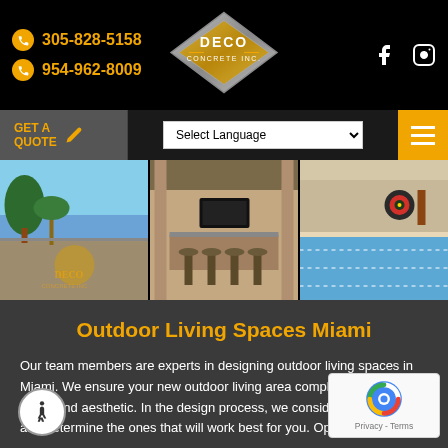305-828-5158 | 954-962-8009 | DECO CONCRETE INC.
[Figure (logo): DECO CONCRETE INC. diamond-shaped logo with silver and gold colors]
[Figure (photo): Three-panel photo strip showing outdoor living spaces: fire pit patio with waterfront, covered outdoor kitchen bar, and pool deck area]
Outdoor Living Spaces Miami
Our team members are experts in designing outdoor living spaces in Miami. We ensure your new outdoor living area complements your home and aesthetic. In the design process, we consider the options and determine the ones that will work best for you. Options such as:
Patios
Walkways